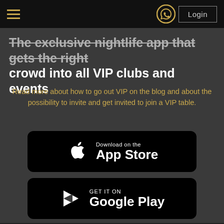Login
The exclusive nightlife app that gets the right crowd into all VIP clubs and events
Read more about how to go out VIP on the blog and about the possibility to invite and get invited to join a VIP table.
[Figure (screenshot): Download on the App Store button]
[Figure (screenshot): GET IT ON Google Play button]